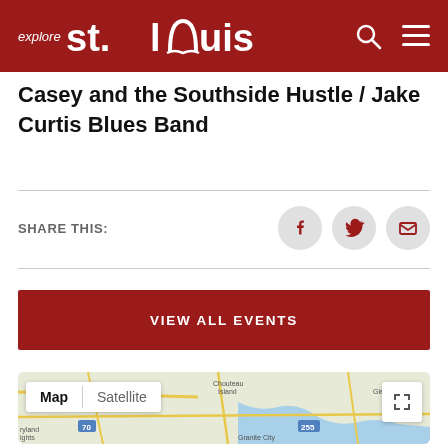explore st.louis
Casey and the Southside Hustle / Jake Curtis Blues Band
SHARE THIS:
VIEW ALL EVENTS
[Figure (map): Google Map showing St. Louis area with Map/Satellite toggle and expand button. Labels visible: Bridgeton, Chouteau, Island, Glenon, Maryland Heights, Granite City. Route markers: 70, 255.]